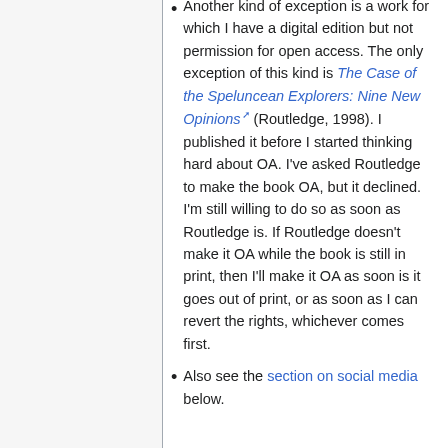Another kind of exception is a work for which I have a digital edition but not permission for open access. The only exception of this kind is The Case of the Speluncean Explorers: Nine New Opinions (Routledge, 1998). I published it before I started thinking hard about OA. I've asked Routledge to make the book OA, but it declined. I'm still willing to do so as soon as Routledge is. If Routledge doesn't make it OA while the book is still in print, then I'll make it OA as soon is it goes out of print, or as soon as I can revert the rights, whichever comes first.
Also see the section on social media below.